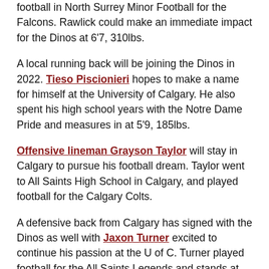football in North Surrey Minor Football for the Falcons. Rawlick could make an immediate impact for the Dinos at 6'7, 310lbs.
A local running back will be joining the Dinos in 2022. Tieso Piscionieri hopes to make a name for himself at the University of Calgary. He also spent his high school years with the Notre Dame Pride and measures in at 5'9, 185lbs.
Offensive lineman Grayson Taylor will stay in Calgary to pursue his football dream. Taylor went to All Saints High School in Calgary, and played football for the Calgary Colts.
A defensive back from Calgary has signed with the Dinos as well with Jaxon Turner excited to continue his passion at the U of C. Turner played football for the All Saints Legends and stands at 6'2, 180lbs.
Another defensive back has agreed to sign with Carter ...